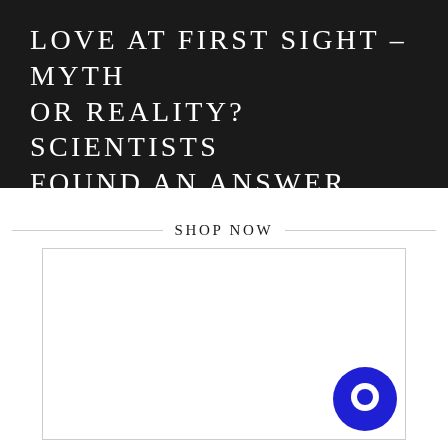LOVE AT FIRST SIGHT – MYTH OR REALITY? SCIENTISTS FOUND AN ANSWER
SHOP NOW
[Figure (other): Empty white product display box with a decorative border, and a dark blue circular chat/message icon in the bottom right corner]